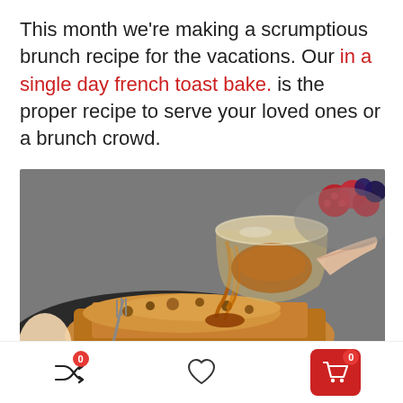This month we're making a scrumptious brunch recipe for the vacations. Our in a single day french toast bake. is the proper recipe to serve your loved ones or a brunch crowd.
[Figure (photo): Close-up photo of maple syrup being poured from a glass onto french toast bake with crumble topping on a dark plate, with raspberries and blueberries visible in the background]
Navigation bar with shuffle icon (badge 0), heart/favorite icon, and shopping cart icon (badge 0)